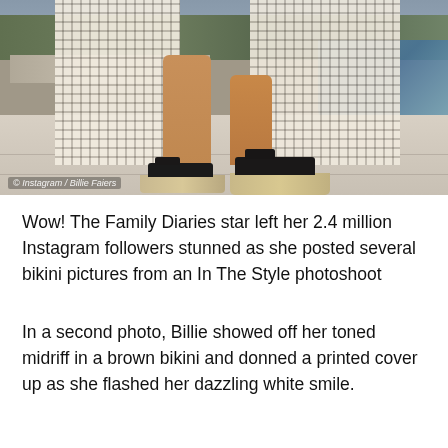[Figure (photo): Close-up photo of a woman's legs wearing a black and white patterned maxi dress with a high slit, and black wedge espadrille sandals. The setting appears to be a poolside terrace with stone tiles and water visible in the background. Watermark reads: © Instagram / Billie Faiers]
© Instagram / Billie Faiers
Wow! The Family Diaries star left her 2.4 million Instagram followers stunned as she posted several bikini pictures from an In The Style photoshoot
In a second photo, Billie showed off her toned midriff in a brown bikini and donned a printed cover up as she flashed her dazzling white smile.